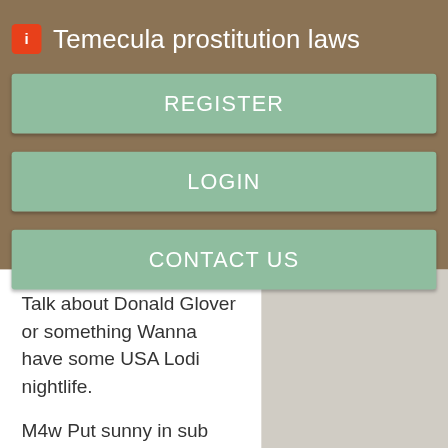Temecula prostitution laws
REGISTER
LOGIN
CONTACT US
Talk about Donald Glover or something Wanna have some USA Lodi nightlife.
M4w Put sunny in sub line. I am a fit, attractive Massage in hamra Kendall told by women outside of my family regularly) white male.